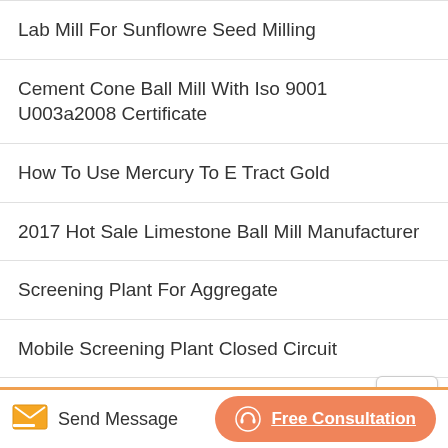Lab Mill For Sunflowre Seed Milling
Cement Cone Ball Mill With Iso 9001 U003a2008 Certificate
How To Use Mercury To E Tract Gold
2017 Hot Sale Limestone Ball Mill Manufacturer
Screening Plant For Aggregate
Mobile Screening Plant Closed Circuit
Profit In Stone Crusher Business Ethiopia
Mini Cement Plants In Philippines
Send Message   Free Consultation